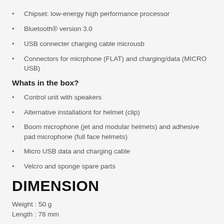Chipset: low-energy high performance processor
Bluetooth® version 3.0
USB connecter charging cable microusb
Connectors for micrphone (FLAT) and charging/data (MICRO USB)
Whats in the box?
Control unit with speakers
Alternative installationt for helmet (clip)
Boom microphone (jet and modular helmets) and adhesive pad microphone (full face helmets)
Micro USB data and charging cable
Velcro and sponge spare parts
DIMENSION
Weight : 50 g
Length : 78 mm